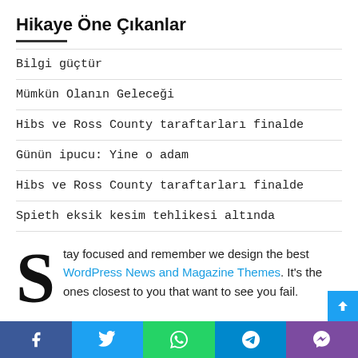Hikaye Öne Çıkanlar
Bilgi güçtür
Mümkün Olanın Geleceği
Hibs ve Ross County taraftarları finalde
Günün ipucu: Yine o adam
Hibs ve Ross County taraftarları finalde
Spieth eksik kesim tehlikesi altında
Stay focused and remember we design the best WordPress News and Magazine Themes. It's the ones closest to you that want to see you fail.
Social share bar: Facebook, Twitter, WhatsApp, Telegram, Viber